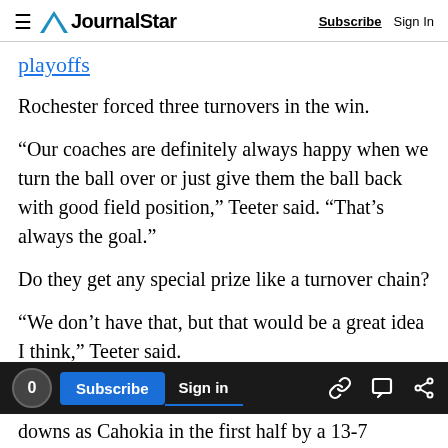Journal Star — Subscribe | Sign In
playoffs
Rochester forced three turnovers in the win.
“Our coaches are definitely always happy when we turn the ball over or just give them the ball back with good field position,” Teeter said. “That’s always the goal.”
Do they get any special prize like a turnover chain?
“We don’t have that, but that would be a great idea I think,” Teeter said.
downs as Cahokia in the first half by a 13-7